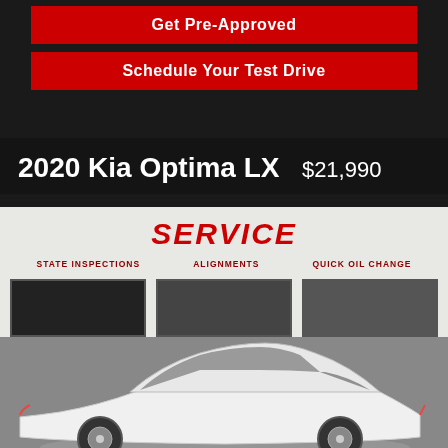Get Pre-Approved
Schedule Your Test Drive
2020 Kia Optima LX   $21,990
[Figure (photo): White 2020 Kia Optima LX sedan parked in front of a service center bay with signs reading SERVICE, STATE INSPECTIONS, ALIGNMENTS, QUICK OIL CHANGE]